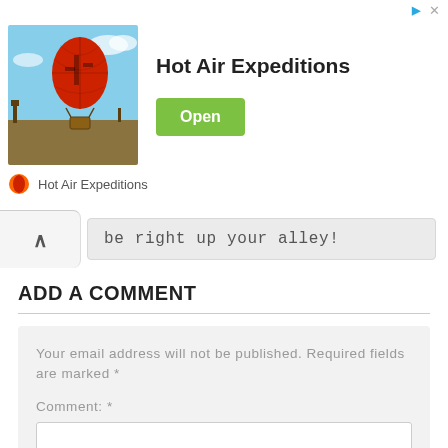[Figure (advertisement): Hot Air Expeditions advertisement banner with hot air balloon photo, title, and Open button]
be right up your alley!
ADD A COMMENT
Your email address will not be published. Required fields are marked *
Comment: *